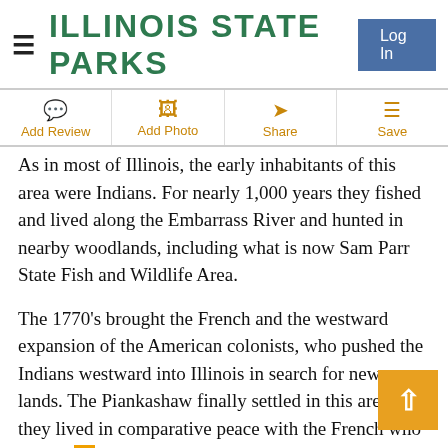ILLINOIS STATE PARKS
Add Review | Add Photo | Share | Save
As in most of Illinois, the early inhabitants of this area were Indians. For nearly 1,000 years they fished and lived along the Embarrass River and hunted in nearby woodlands, including what is now Sam Parr State Fish and Wildlife Area.
The 1770's brought the French and the westward expansion of the American colonists, who pushed the Indians westward into Illinois in search for new lands. The Piankashaw finally settled in this area and they lived in comparative peace with the French who lived with them, adapting many of their ways. General Harrison from Vincennes, Indiana, negotiated a treaty with the